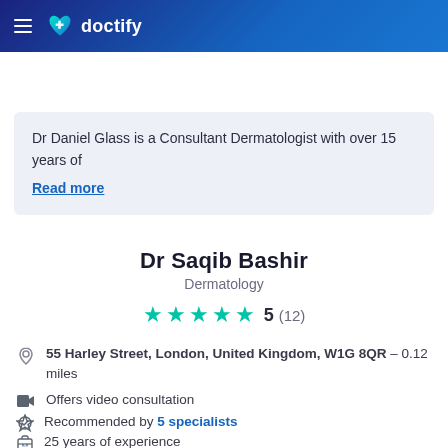[Figure (logo): Doctify logo with hamburger menu on dark blue gradient header]
Request appointment
Dr Daniel Glass is a Consultant Dermatologist with over 15 years of
Read more
Dr Saqib Bashir
Dermatology
5 (12)
55 Harley Street, London, United Kingdom, W1G 8QR - 0.12 miles
Offers video consultation
Recommended by 5 specialists
25 years of experience